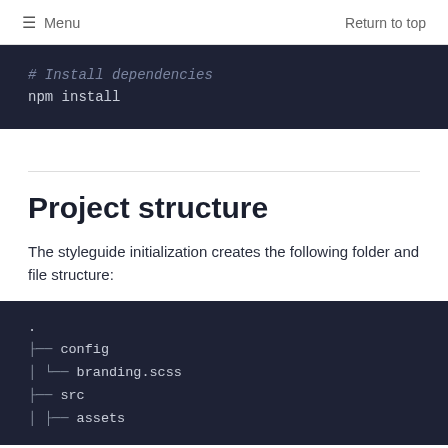Menu   Return to top
[Figure (screenshot): Dark code block showing: # Install dependencies (comment) and npm install (command)]
Project structure
The styleguide initialization creates the following folder and file structure:
[Figure (other): Dark code block showing directory tree: . ├── config │   └── branding.scss ├── src │   ├── assets]